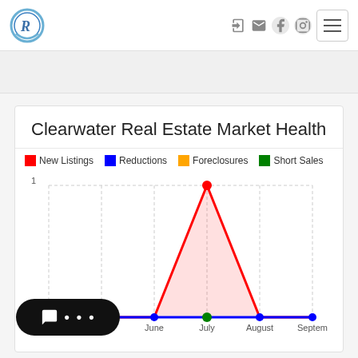[Figure (logo): Clearwater R logo in blue circle with swoosh]
Clearwater Real Estate Market Health
[Figure (line-chart): Clearwater Real Estate Market Health]